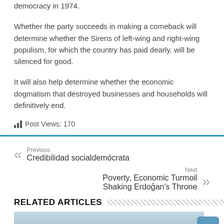democracy in 1974.
Whether the party succeeds in making a comeback will determine whether the Sirens of left-wing and right-wing populism, for which the country has paid dearly, will be silenced for good.
It will also help determine whether the economic dogmatism that destroyed businesses and households will definitively end.
Post Views: 170
Previous
Credibilidad socialdemócrata
Next
Poverty, Economic Turmoil Shaking Erdoğan's Throne
RELATED ARTICLES
[Figure (photo): Landscape photo with mountains or hills and blue sky, partially visible at bottom of page]